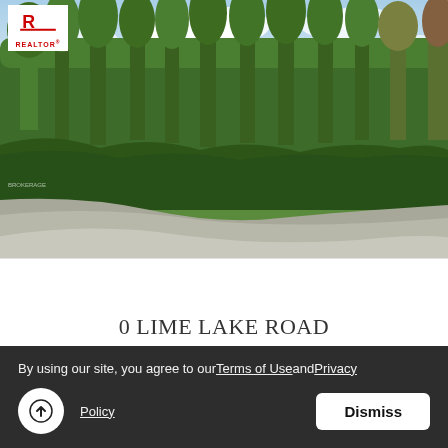[Figure (photo): Outdoor photo of a wooded vacant land parcel at a road intersection. Dense green trees fill the background under a partly cloudy blue sky. A paved road curves in the foreground. A REALTOR logo is overlaid in the top-left corner.]
0 LIME LAKE ROAD
$199,900 Vacant Land
Roblin, Ontario
By using our site, you agree to our Terms of Use and Privacy Policy
Dismiss